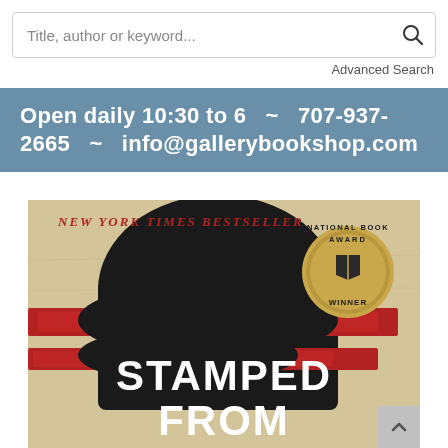Title, author or keyword...
Advanced Search
Open daily 10:30 to 6  ~  707-937-2665  ~  info@gallerybookshop.com
[Figure (photo): Book cover of 'Stamped From' showing a stylized face with red and black brushstrokes on a tan background, with 'NEW YORK TIMES BESTSELLER' in red text at top and 'NATIONAL BOOK AWARD WINNER' medallion on the right. Large white text reads 'STAMPED FROM' at the bottom.]